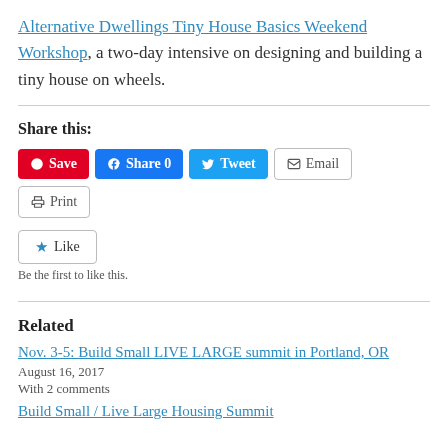Alternative Dwellings Tiny House Basics Weekend Workshop, a two-day intensive on designing and building a tiny house on wheels.
Share this:
[Figure (screenshot): Social sharing buttons: Save (Pinterest, red), Share 0 (Facebook, blue), Tweet (Twitter, light blue), Email (grey outline), Print (grey outline)]
[Figure (screenshot): Like button (star icon) with text: Be the first to like this.]
Related
Nov. 3-5: Build Small LIVE LARGE summit in Portland, OR
August 16, 2017
With 2 comments
Build Small / Live Large Housing Summit